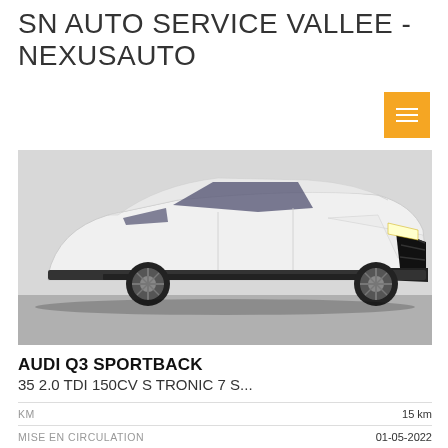SN AUTO SERVICE VALLEE - NEXUSAUTO
[Figure (photo): White Audi Q3 Sportback SUV photographed from the front-left angle in a showroom with grey flooring]
AUDI Q3 SPORTBACK
35 2.0 TDI 150CV S TRONIC 7 S...
|  |  |
| --- | --- |
| KM | 15 km |
| MISE EN CIRCULATION | 01-05-2022 |
| COULEUR | BLANC IRIS |